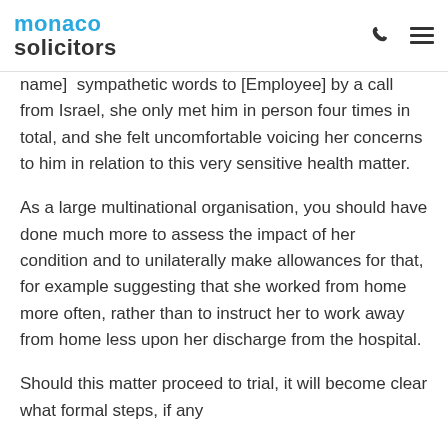monaco solicitors
name]  sympathetic words to [Employee] by a call from Israel, she only met him in person four times in total, and she felt uncomfortable voicing her concerns to him in relation to this very sensitive health matter.
As a large multinational organisation, you should have done much more to assess the impact of her condition and to unilaterally make allowances for that, for example suggesting that she worked from home more often, rather than to instruct her to work away from home less upon her discharge from the hospital.
Should this matter proceed to trial, it will become clear what formal steps, if any